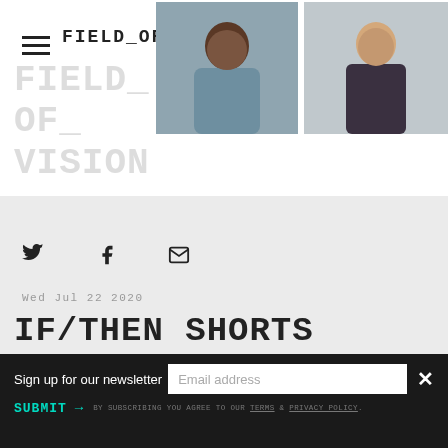FIELD_OF_VISION
[Figure (photo): Photo of a person (dark skin tone, blue clothing) against a gray background]
[Figure (photo): Photo of a person (light skin tone, dark jacket) outdoors near a car]
FIELD_
OF_
VISION
[Figure (infographic): Twitter bird icon social share button]
[Figure (infographic): Facebook F icon social share button]
[Figure (infographic): Email envelope icon social share button]
Wed Jul 22 2020
IF/THEN SHORTS
Sign up for our newsletter
SUBMIT
BY SUBSCRIBING YOU AGREE TO OUR TERMS & PRIVACY POLICY.